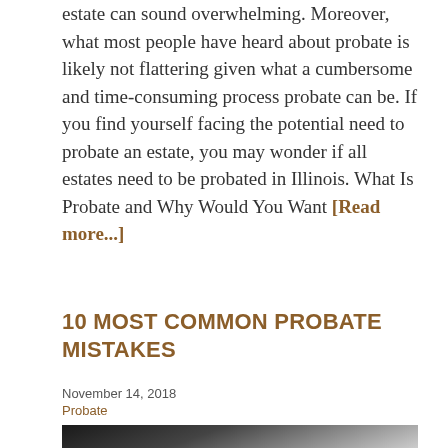estate can sound overwhelming. Moreover, what most people have heard about probate is likely not flattering given what a cumbersome and time-consuming process probate can be. If you find yourself facing the potential need to probate an estate, you may wonder if all estates need to be probated in Illinois. What Is Probate and Why Would You Want [Read more...]
10 MOST COMMON PROBATE MISTAKES
November 14, 2018
Probate
[Figure (photo): Black and white photo showing eyeglasses resting on a document, with dark curved shapes in the background]